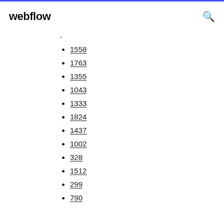webflow
-
1558
1763
1355
1043
1333
1824
1437
1002
328
1512
299
790